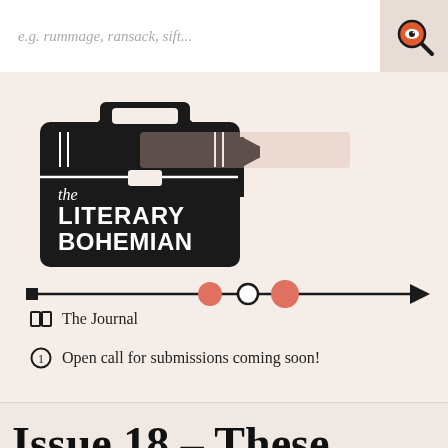e.g. rummage, ransack, sift...
[Figure (logo): The Literary Bohemian logo: a black suitcase/briefcase with white text reading 'the LITERARY BOHEMIAN' and a small flag pennant]
[Figure (infographic): A horizontal timeline arrow with three dots: two filled salmon/orange dots and one open circle dot in the middle]
The Journal
Open call for submissions coming soon!
Issue 18 – These Miles